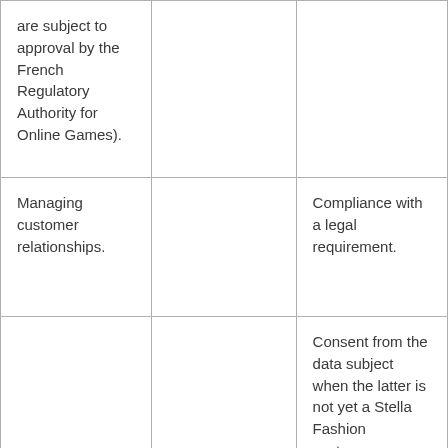| are subject to approval by the French Regulatory Authority for Online Games). |  |  |
| Managing customer relationships. |  | Compliance with a legal requirement. |
|  |  | Consent from the data subject when the latter is not yet a Stella Fashion customer (customers may unsubscribe at any time by clicking on the dedicated link |